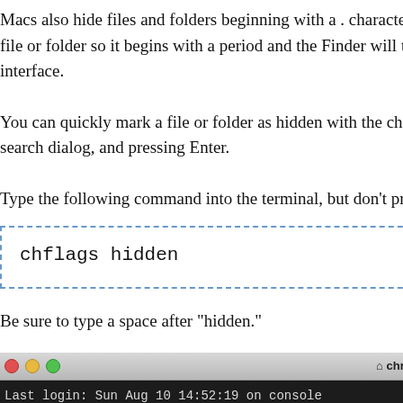Macs also hide files and folders beginning with a . character. This is attribute the Finder will obey. Hiding a file or folder is a bit more file or folder so it begins with a period and the Finder will tell yo the system.” There’s also no way to quickly toggle the hidden a interface.
You can quickly mark a file or folder as hidden with the chflags open a Terminal window by pressing Command + Space, typing search dialog, and pressing Enter.
Type the following command into the terminal, but don’t press
chflags hidden
Be sure to type a space after “hidden.”
[Figure (screenshot): Terminal window on Mac showing titlebar with traffic light buttons, title 'chris — bash — 74×12', and terminal body with 'Last login: Sun Aug 10 14:52:19 on console' and 'Christophers-MacBook-Air:~ chris$ chflags hidden']